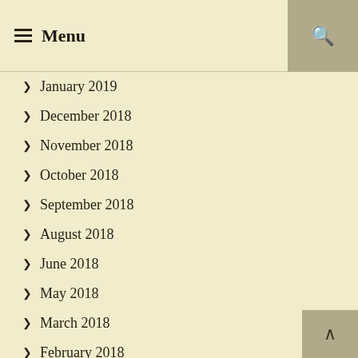Menu
January 2019
December 2018
November 2018
October 2018
September 2018
August 2018
June 2018
May 2018
March 2018
February 2018
January 2018